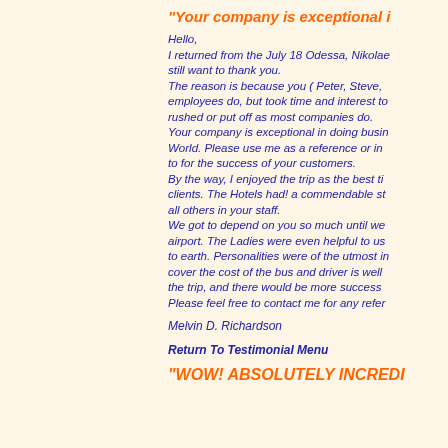"Your company is exceptional i...
Hello,
I returned from the July 18 Odessa, Nikolae... still want to thank you.
The reason is because you ( Peter, Steve, ... employees do, but took time and interest to... rushed or put off as most companies do.
Your company is exceptional in doing busin... World. Please use me as a reference or in... to for the success of your customers.
By the way, I enjoyed the trip as the best ti... clients. The Hotels had! a commendable st... all others in your staff.
We got to depend on you so much until we... airport. The Ladies were even helpful to us... to earth. Personalities were of the utmost in... cover the cost of the bus and driver is well... the trip, and there would be more success... Please feel free to contact me for any refer...
Melvin D. Richardson
Return To Testimonial Menu
"WOW! ABSOLUTELY INCREDI...